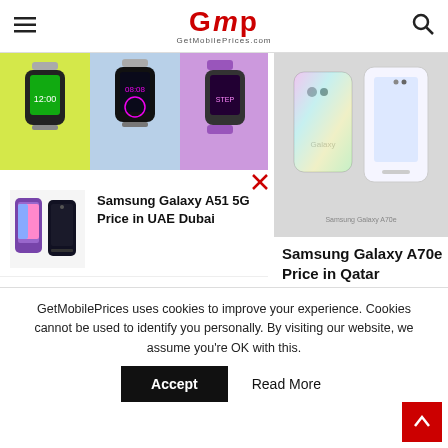GetMobilePrices.com
[Figure (photo): Fitness smartwatch/band product images in multiple colors]
[Figure (photo): Samsung Galaxy smartphone shown from front and back in white/silver]
[Figure (photo): Samsung Galaxy A51 5G phone in two color variants]
Samsung Galaxy A51 5G Price in UAE Dubai
Samsung Galaxy A70e Price in Qatar
Samsung Galaxy S20 Lite 5G Price in Qatar
[Figure (photo): Person holding a round blue wireless earphone/earbud]
Honor Play 9a
GetMobilePrices uses cookies to improve your experience. Cookies cannot be used to identify you personally. By visiting our website, we assume you're OK with this.